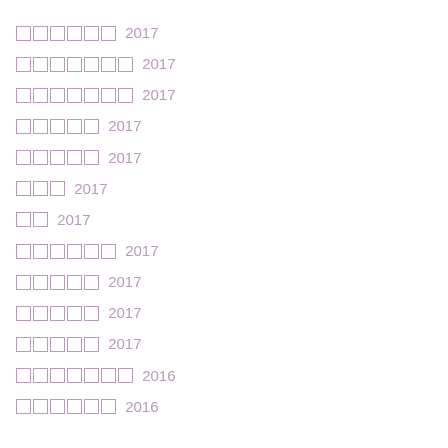ᄆᄆᄆᄆᄆᄆ 2017
ᄆᄆᄆᄆᄆᄆᄆ 2017
ᄆᄆᄆᄆᄆᄆᄆ 2017
ᄆᄆᄆᄆᄆ 2017
ᄆᄆᄆᄆᄆ 2017
ᄆᄆᄆ 2017
ᄆᄆ 2017
ᄆᄆᄆᄆᄆᄆ 2017
ᄆᄆᄆᄆᄆ 2017
ᄆᄆᄆᄆᄆ 2017
ᄆᄆᄆᄆᄆ 2017
ᄆᄆᄆᄆᄆᄆᄆ 2016
ᄆᄆᄆᄆᄆᄆ 2016